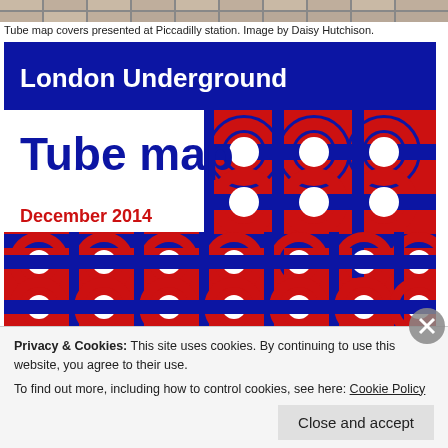[Figure (photo): Top strip of a tiled floor or ceiling photo, partial view]
Tube map covers presented at Piccadilly station. Image by Daisy Hutchison.
[Figure (illustration): London Underground Tube map cover for December 2014. Blue header bar with 'London Underground' in white bold text. White area with 'Tube map' in large blue bold text and 'December 2014' in red bold text. Background pattern of London Underground roundels in red and blue overlapping circular motifs covering the right side and lower portion.]
Privacy & Cookies: This site uses cookies. By continuing to use this website, you agree to their use.
To find out more, including how to control cookies, see here: Cookie Policy
Close and accept